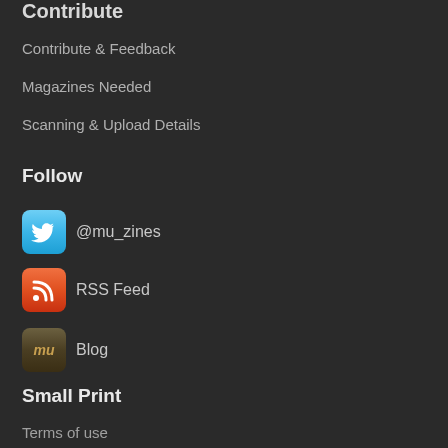Contribute
Contribute & Feedback
Magazines Needed
Scanning & Upload Details
Follow
@mu_zines
RSS Feed
Blog
Small Print
Terms of use
Privacy